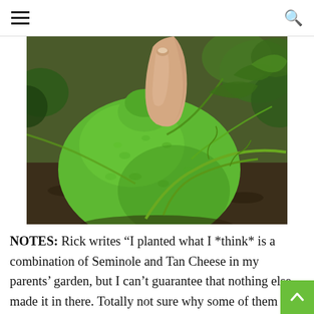Navigation header with hamburger menu and search icon
[Figure (photo): A large green pumpkin or squash resting on the ground among garden vines and mulch, with a hand touching/holding it from above to show scale.]
NOTES: Rick writes “I planted what I *think* is a combination of Seminole and Tan Cheese in my parents’ garden, but I can’t guarantee that nothing else made it in there. Totally not sure why some of them are green. I find it surprising there was such variety in the…uh neckedness. One was almost as flat as a t